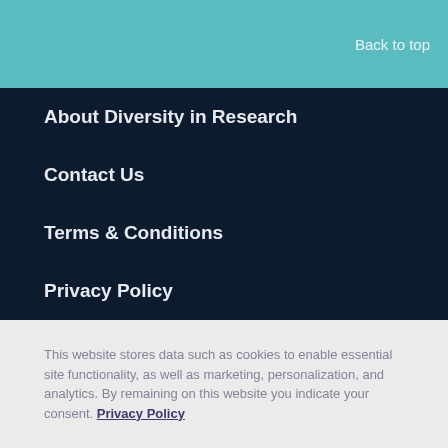Back to top
About Diversity in Research
Contact Us
Terms & Conditions
Privacy Policy
Post a job with us
Cookie Preferences
This website stores data such as cookies to enable essential site functionality, as well as marketing, personalization, and analytics. By remaining on this website you indicate your consent. Privacy Policy